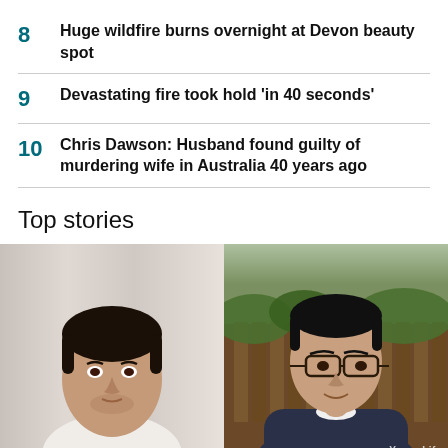8  Huge wildfire burns overnight at Devon beauty spot
9  Devastating fire took hold 'in 40 seconds'
10  Chris Dawson: Husband found guilty of murdering wife in Australia 40 years ago
Top stories
[Figure (photo): Two side-by-side photos of two young men. Left: a young man with dark hair in front of a light curtain background. Right: a young man wearing glasses and a dark hoodie, smiling outdoors near a wooden fence and greenery. A watermark 'YoungLife' is visible in the lower right.]